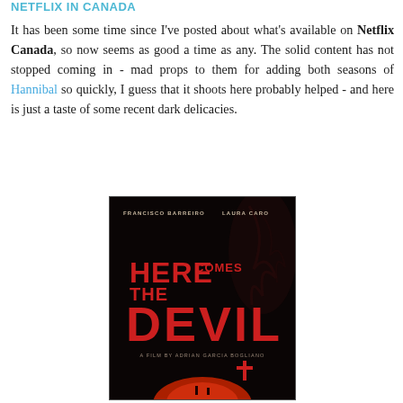NETFLIX IN CANADA
It has been some time since I've posted about what's available on Netflix Canada, so now seems as good a time as any. The solid content has not stopped coming in - mad props to them for adding both seasons of Hannibal so quickly, I guess that it shoots here probably helped - and here is just a taste of some recent dark delicacies.
[Figure (photo): Movie poster for 'Here Comes the Devil' featuring actors Francisco Barreiro and Laura Caro, directed by Adrian Garcia Bogliano. Dark horror movie poster with large red title text on black background with red orb at bottom.]